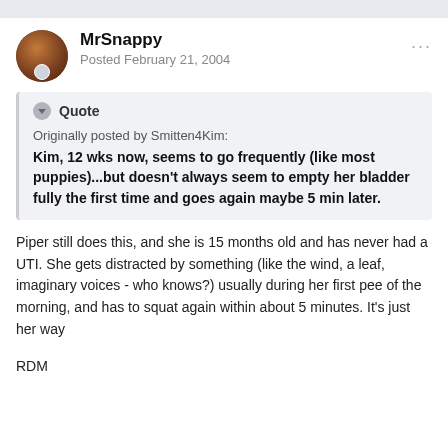MrSnappy
Posted February 21, 2004
Quote
Originally posted by Smitten4Kim:
Kim, 12 wks now, seems to go frequently (like most puppies)...but doesn't always seem to empty her bladder fully the first time and goes again maybe 5 min later.
Piper still does this, and she is 15 months old and has never had a UTI. She gets distracted by something (like the wind, a leaf, imaginary voices - who knows?) usually during her first pee of the morning, and has to squat again within about 5 minutes. It's just her way
RDM